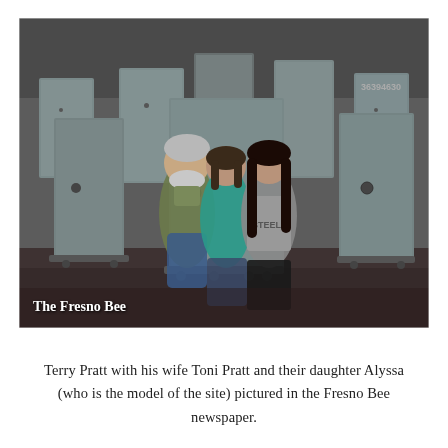[Figure (photo): Three people standing in front of large metal safes in a warehouse/factory setting. A man with a white beard wearing overalls on the left, a woman in teal/green top in the center, and a young woman with dark hair in a tank top on the right. Watermark text 'The Fresno Bee' in the lower left of the photo.]
Terry Pratt with his wife Toni Pratt and their daughter Alyssa (who is the model of the site) pictured in the Fresno Bee newspaper.